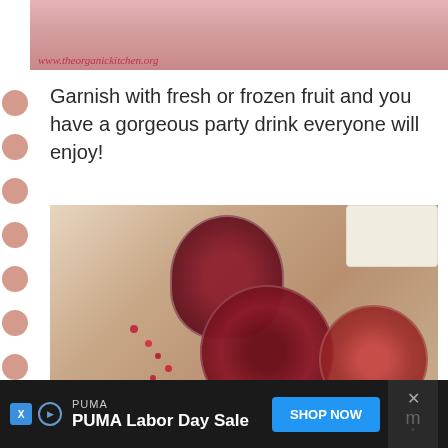[Figure (photo): Partial food/drink photo at top of page with www.theorganickitchen.org watermark in red italic text]
Garnish with fresh or frozen fruit and you have a gorgeous party drink everyone will enjoy!
[Figure (photo): Overhead photo of three glasses containing pomegranate drinks with pomegranate seeds scattered around, on a light table surface. White plate/bowl in upper right corner. Watermark reads: www.theorganickitchen.org]
[Figure (other): Advertisement banner: PUMA brand, 'PUMA Labor Day Sale' text, blue 'SHOP NOW' button, close button with X on dark background]